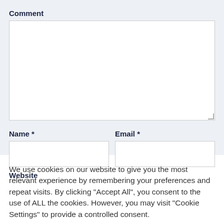Comment
[Figure (screenshot): Comment textarea input field (empty, white background)]
Name *
[Figure (screenshot): Name text input field (empty, white background)]
Email *
[Figure (screenshot): Email text input field (empty, white background)]
Website
[Figure (screenshot): Website text input field (empty, white background, partially visible)]
We use cookies on our website to give you the most relevant experience by remembering your preferences and repeat visits. By clicking "Accept All", you consent to the use of ALL the cookies. However, you may visit "Cookie Settings" to provide a controlled consent.
[Figure (screenshot): Cookie Settings button with moon icon and Accept All green button]